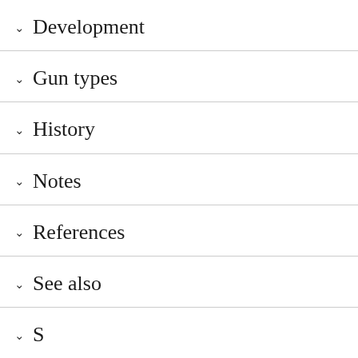Development
Gun types
History
Notes
References
See also
S...